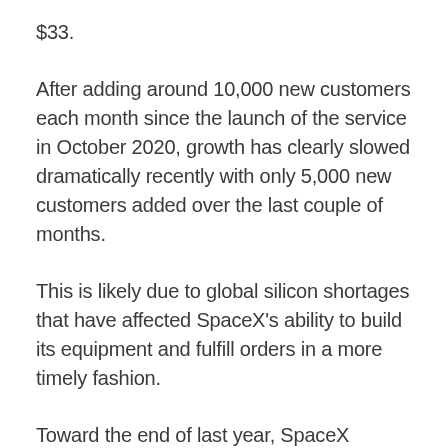$33.
After adding around 10,000 new customers each month since the launch of the service in October 2020, growth has clearly slowed dramatically recently with only 5,000 new customers added over the last couple of months.
This is likely due to global silicon shortages that have affected SpaceX's ability to build its equipment and fulfill orders in a more timely fashion.
Toward the end of last year, SpaceX apologized to customers who were waiting longer than expected for their Starlink gear to arrive.